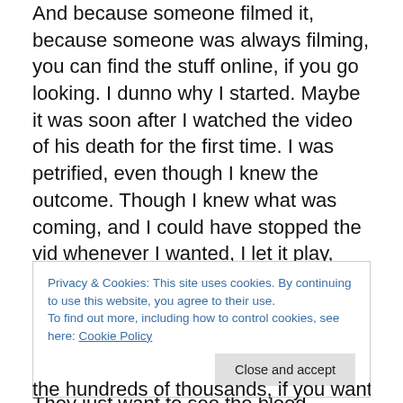And because someone filmed it, because someone was always filming, you can find the stuff online, if you go looking. I dunno why I started. Maybe it was soon after I watched the video of his death for the first time. I was petrified, even though I knew the outcome. Though I knew what was coming, and I could have stopped the vid whenever I wanted, I let it play, heart thumping in my chest, right to the very end.
Most people stop it, you know. She brings down the knife, and they stop it. They just want to see the blood.
Privacy & Cookies: This site uses cookies. By continuing to use this website, you agree to their use.
To find out more, including how to control cookies, see here: Cookie Policy
Close and accept
the hundreds of thousands, if you want to know, and a lot